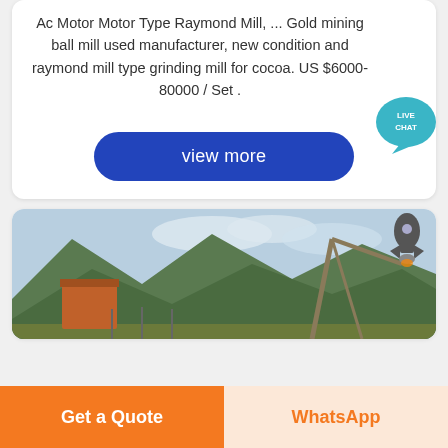Ac Motor Motor Type Raymond Mill, ... Gold mining ball mill used manufacturer, new condition and raymond mill type grinding mill for cocoa. US $6000-80000 / Set .
[Figure (other): Blue 'view more' button with rounded corners]
[Figure (photo): Industrial mining facility with cranes and structures set against green mountains and cloudy sky]
Get a Quote
WhatsApp